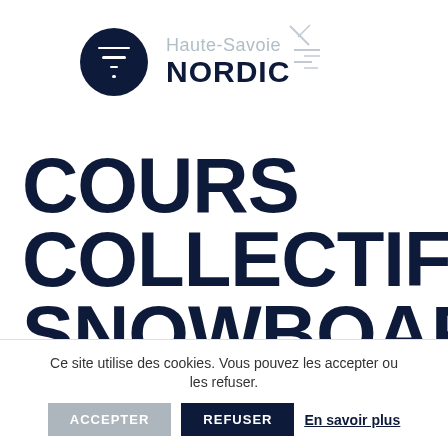[Figure (logo): Haute-Savoie Nordic logo with dark navy circle containing hamburger/menu lines icon and text 'Haute-Savoie NORDIC' with decorative snowflake lines]
COURS COLLECTIFS SNOWBOARD
Les Esserts 74440 Morillon
Ce site utilise des cookies. Vous pouvez les accepter ou les refuser. ACCEPTER REFUSER En savoir plus